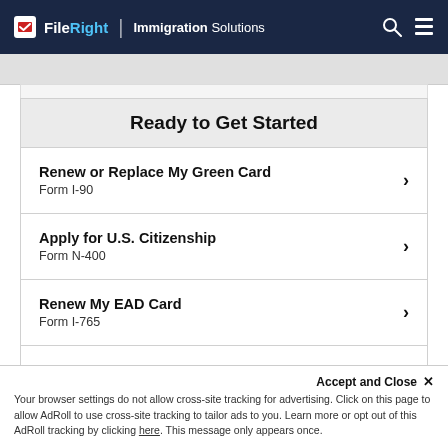FileRight | Immigration Solutions
Ready to Get Started
Renew or Replace My Green Card
Form I-90
Apply for U.S. Citizenship
Form N-400
Renew My EAD Card
Form I-765
Petition Relative for a Green Card
Accept and Close ×
Your browser settings do not allow cross-site tracking for advertising. Click on this page to allow AdRoll to use cross-site tracking to tailor ads to you. Learn more or opt out of this AdRoll tracking by clicking here. This message only appears once.